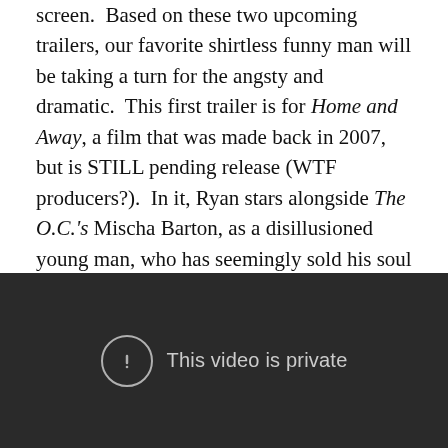screen.  Based on these two upcoming trailers, our favorite shirtless funny man will be taking a turn for the angsty and dramatic.  This first trailer is for Home and Away, a film that was made back in 2007, but is STILL pending release (WTF producers?).  In it, Ryan stars alongside The O.C.'s Mischa Barton, as a disillusioned young man, who has seemingly sold his soul to the music industry.  However, during the course of the film, he gets it back, thanks to the impending loss of his father, and the love of a free-spirited woman.  Check it out . . .
[Figure (screenshot): Embedded video player showing 'This video is private' message with an exclamation mark circle icon on a dark background.]